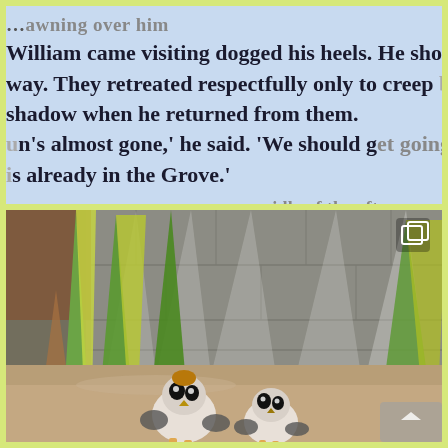William came visiting dogged his heels. He shooed way. They retreated respectfully only to creep back shadow when he returned from them. un's almost gone,' he said. 'We should get going is already in the Grove.' ...idle of the afternoon
[Figure (photo): Outdoor photo showing two porg (bird-like creature) figurines or toys on a sandy/concrete surface in front of a wall with tall green and yellow-striped leaves/plants casting shadows. A copy/layers icon appears in the top right corner. A scroll/navigation icon is at the bottom right corner.]